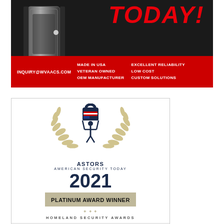[Figure (infographic): Top advertisement banner with dark background showing 'TODAY!' in red italic text, a cylindrical door/security product on the left, a red bar at bottom with email and feature columns: MADE IN USA, VETERAN OWNED, OEM MANUFACTURER, EXCELLENT RELIABILITY, LOW COST, CUSTOM SOLUTIONS, and email INQUIRY@WVAACS.COM]
[Figure (infographic): ASTORS American Security Today 2021 Platinum Award Winner - Homeland Security Awards badge with laurel wreath and figure holding padlock, followed by AMAROK logo and text 'WINNER OF TWO ASTORS HOMELAND']